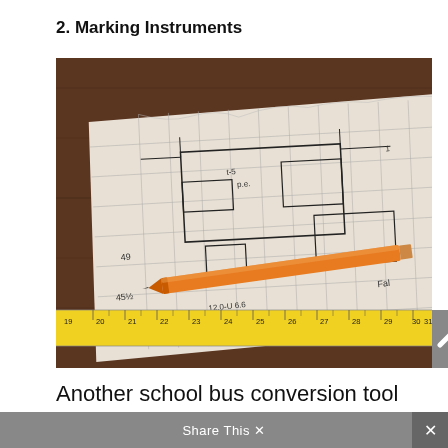2. Marking Instruments
[Figure (photo): A crumpled piece of graph paper with hand-drawn construction sketches and measurements, an orange carpenter pencil resting on top, and a yellow measuring tape showing marks from 19 to 31 inches along the bottom, all on a dark wood surface.]
Another school bus conversion tool that is inexpensive and indispensable are marking